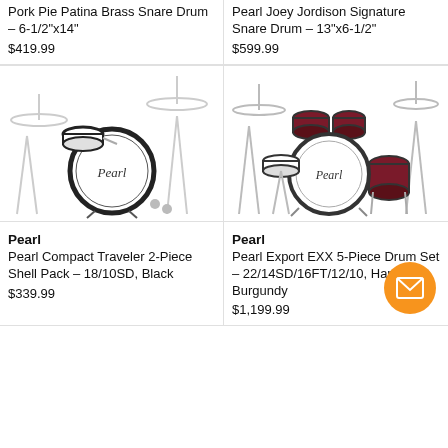Pork Pie Patina Brass Snare Drum - 6-1/2"x14"
$419.99
Pearl Joey Jordison Signature Snare Drum - 13"x6-1/2"
$599.99
[Figure (photo): Pearl Compact Traveler 2-Piece Shell Pack drum set with bass drum and snare, black finish, with cymbal stands]
[Figure (photo): Pearl Export EXX 5-Piece Drum Set in Burgundy with cymbals and hardware]
Pearl
Pearl Compact Traveler 2-Piece Shell Pack - 18/10SD, Black
$339.99
Pearl
Pearl Export EXX 5-Piece Drum Set - 22/14SD/16FT/12/10, Hardware, Burgundy
$1,199.99